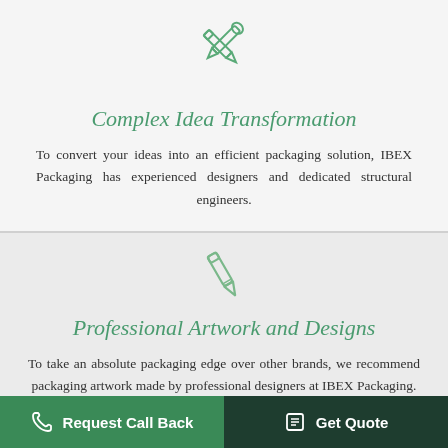[Figure (illustration): Green outline icon of crossed pencil and wrench/tools]
Complex Idea Transformation
To convert your ideas into an efficient packaging solution, IBEX Packaging has experienced designers and dedicated structural engineers.
[Figure (illustration): Green outline icon of a pencil/pen]
Professional Artwork and Designs
To take an absolute packaging edge over other brands, we recommend packaging artwork made by professional designers at IBEX Packaging.
Request Call Back  |  Get Quote